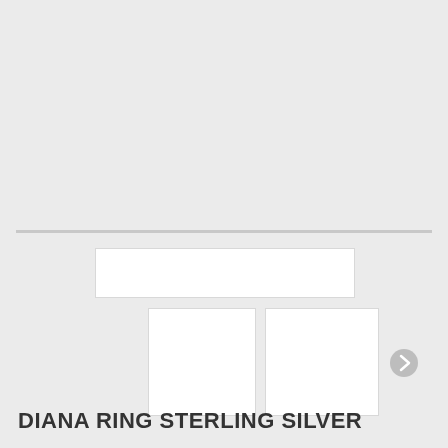[Figure (photo): Large main product image area (blank/light grey placeholder) for a sterling silver ring product]
[Figure (photo): Wide thumbnail placeholder image below the divider line]
[Figure (photo): Square thumbnail placeholder image 1, left]
[Figure (photo): Square thumbnail placeholder image 2, right]
DIANA RING STERLING SILVER